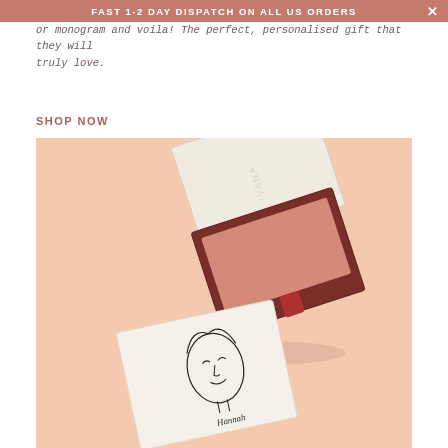FAST 1-2 DAY DISPATCH ON ALL US ORDERS
or monogram and voila! The perfect, personalised gift that they will truly love.
SHOP NOW
[Figure (photo): Product photo showing an open dark red/maroon gift box with a cream-colored lid, containing a pink item with a red ribbon pull tab, and a second cream-colored box below with a line drawing of a woman's face and a signature.]